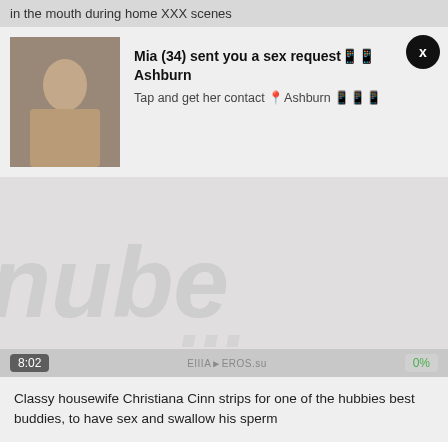in the mouth during home XXX scenes
[Figure (screenshot): Ad popup overlay with thumbnail image on left and bold text 'Mia (34) sent you a sex request Ashburn' with subtitle 'Tap and get her contact Ashburn' and a close X button]
[Figure (screenshot): Video player area with large watermark text 'nue' style, showing time badge 8:02, percentage badge 0%, and a watermark logo bottom right]
Classy housewife Christiana Cinn strips for one of the hubbies best buddies, to have sex and swallow his sperm